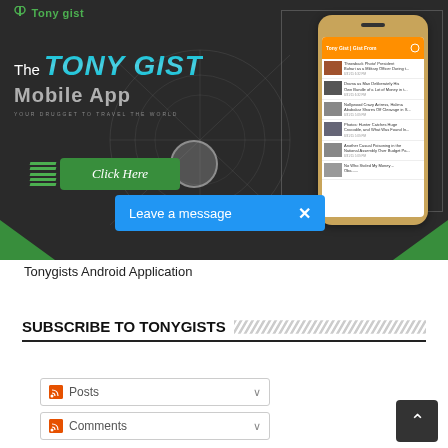[Figure (screenshot): Tonygists Android Application promotional banner showing the app interface with a phone mockup, 'The TONY GIST Mobile App' text, 'Click Here' button, and a 'Leave a message' bar overlay]
Tonygists Android Application
SUBSCRIBE TO TONYGISTS
Posts
Comments